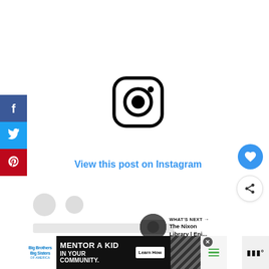[Figure (logo): Instagram logo icon - rounded square with camera outline and dot]
View this post on Instagram
[Figure (screenshot): Social share sidebar with Facebook, Twitter, and Pinterest buttons]
[Figure (infographic): Floating heart/like button (blue circle) and share button (white circle with share icon)]
[Figure (screenshot): WHAT'S NEXT section with thumbnail image and text: The Nixon Library | Enj...]
[Figure (photo): Placeholder gray content bar and smaller gray bar]
[Figure (screenshot): Advertisement banner: Big Brothers Big Sisters - MENTOR A KID IN YOUR COMMUNITY. Learn How]